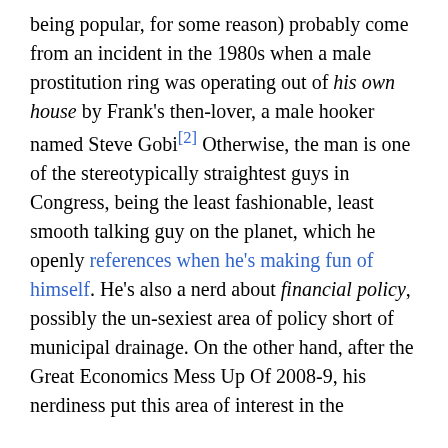being popular, for some reason) probably come from an incident in the 1980s when a male prostitution ring was operating out of his own house by Frank's then-lover, a male hooker named Steve Gobi[2] Otherwise, the man is one of the stereotypically straightest guys in Congress, being the least fashionable, least smooth talking guy on the planet, which he openly references when he's making fun of himself. He's also a nerd about financial policy, possibly the un-sexiest area of policy short of municipal drainage. On the other hand, after the Great Economics Mess Up Of 2008-9, his nerdiness put this area of interest in the spotlight, and the financial reform that passed in ... Reform and Consum... ...piece of major America... ...openly gay
Cookies help us deliver our services. By using our services, you agree to our use of cookies.